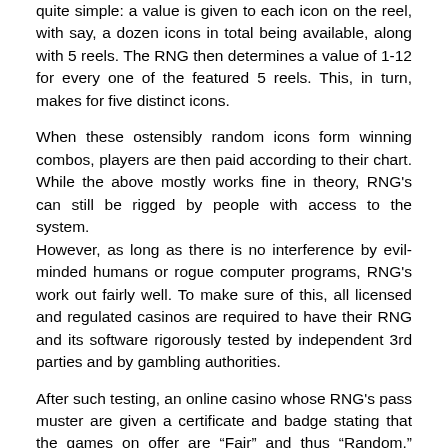quite simple: a value is given to each icon on the reel, with say, a dozen icons in total being available, along with 5 reels. The RNG then determines a value of 1-12 for every one of the featured 5 reels. This, in turn, makes for five distinct icons.
When these ostensibly random icons form winning combos, players are then paid according to their chart. While the above mostly works fine in theory, RNG's can still be rigged by people with access to the system.
However, as long as there is no interference by evil-minded humans or rogue computer programs, RNG's work out fairly well. To make sure of this, all licensed and regulated casinos are required to have their RNG and its software rigorously tested by independent 3rd parties and by gambling authorities.
After such testing, an online casino whose RNG's pass muster are given a certificate and badge stating that the games on offer are “Fair” and thus “Random.” These terms recognize that there are no outside variables that can unfairly manipulate the RNG like the pay-off size, credits in play, VIP status and such like.
As well, such badges and certifications are a recognition of the fact that the casinos concerned meet the minimum stipulated payout percentage mandated in any particular state, country or territory by local and/or federal authorities, as well as the authorized gaming